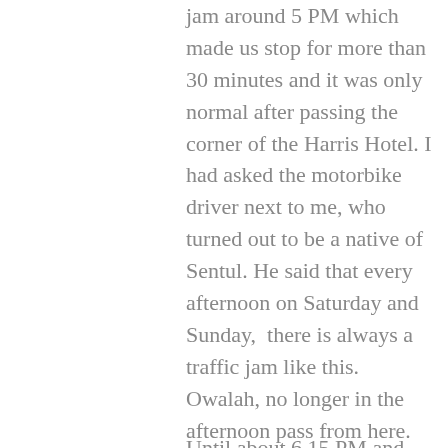jam around 5 PM which made us stop for more than 30 minutes and it was only normal after passing the corner of the Harris Hotel. I had asked the motorbike driver next to me, who turned out to be a native of Sentul. He said that every afternoon on Saturday and Sunday, there is always a traffic jam like this. Owalah, no longer in the afternoon pass from here.
Until about 6.15 PM and immediately we set up a tent after the administrative process. Quite a lot of visitors at that time and thank God the weather was very friendly until our morning. It's a pity that my two children at that time could not swim because of the dirty column water and the other was not filled. As usual